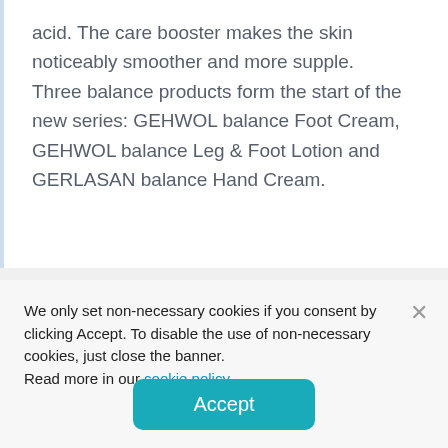acid. The care booster makes the skin noticeably smoother and more supple.
Three balance products form the start of the new series: GEHWOL balance Foot Cream, GEHWOL balance Leg & Foot Lotion and GERLASAN balance Hand Cream.
We only set non-necessary cookies if you consent by clicking Accept. To disable the use of non-necessary cookies, just close the banner.
Read more in our cookie policy.